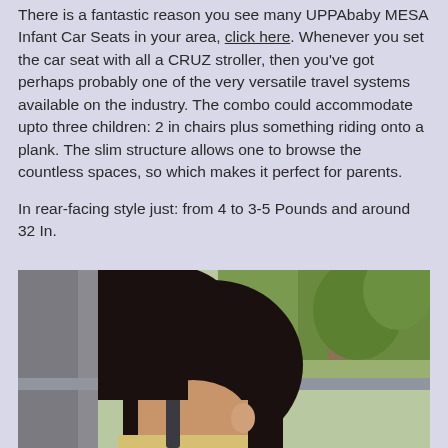There is a fantastic reason you see many UPPAbaby MESA Infant Car Seats in your area, click here. Whenever you set the car seat with all a CRUZ stroller, then you've got perhaps probably one of the very versatile travel systems available on the industry. The combo could accommodate upto three children: 2 in chairs plus something riding onto a plank. The slim structure allows one to browse the countless spaces, so which makes it perfect for parents.

In rear-facing style just: from 4 to 3-5 Pounds and around 32 In.
[Figure (photo): A child sleeping in a car seat, viewed from the side, with trees and greenery visible through the car window in the background.]